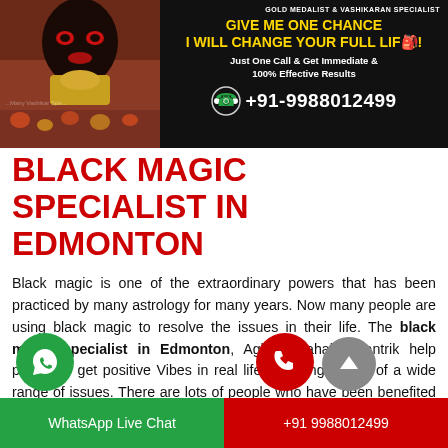[Figure (infographic): Banner with deity image on left, dark background on right with text: GOLD MEDALIST & VASHIKARAN SPECIALIST, GIVE ME ONE CHANCE, I WILL CHANGE YOUR FULL LIFE!, Just One Call & Get Immediate & 100% Effective Results, +91-9988012499]
BLACK MAGIC SPECIALIST IN EDMONTON
Black magic is one of the extraordinary powers that has been practiced by many astrology for many years. Now many people are using black magic to resolve the issues in their life. The black magic specialist in Edmonton, Aghori Mahakal Tantrik help people to get positive Vibes in real life by giving a plan of a wide range of issues. There are lots of people who have been benefited from him and made their dreams come true.
WhatsApp Live Chat | +91 9988012499